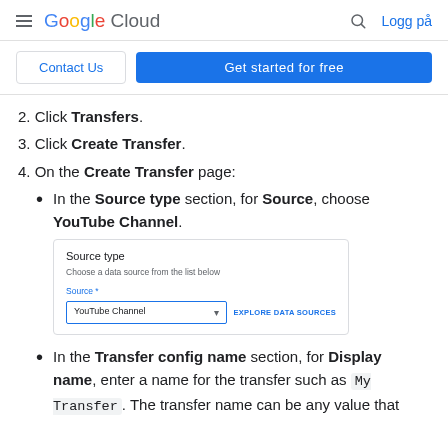Google Cloud — Logg på
2. Click Transfers.
3. Click Create Transfer.
4. On the Create Transfer page:
In the Source type section, for Source, choose YouTube Channel.
[Figure (screenshot): Screenshot of the Source type UI panel showing a dropdown with 'YouTube Channel' selected and an 'Explore Data Sources' link.]
In the Transfer config name section, for Display name, enter a name for the transfer such as My Transfer. The transfer name can be any value that